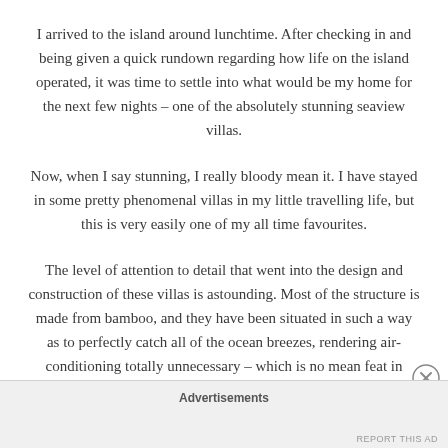I arrived to the island around lunchtime. After checking in and being given a quick rundown regarding how life on the island operated, it was time to settle into what would be my home for the next few nights – one of the absolutely stunning seaview villas.
Now, when I say stunning, I really bloody mean it. I have stayed in some pretty phenomenal villas in my little travelling life, but this is very easily one of my all time favourites.
The level of attention to detail that went into the design and construction of these villas is astounding. Most of the structure is made from bamboo, and they have been situated in such a way as to perfectly catch all of the ocean breezes, rendering air-conditioning totally unnecessary – which is no mean feat in
Advertisements